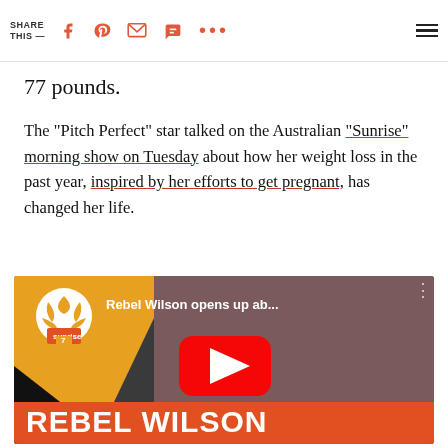SHARE THIS —
77 pounds.
The "Pitch Perfect" star talked on the Australian "Sunrise" morning show on Tuesday about how her weight loss in the past year, inspired by her efforts to get pregnant, has changed her life.
[Figure (screenshot): YouTube video thumbnail showing Rebel Wilson on the Australian Sunrise morning show. The thumbnail shows Rebel Wilson wearing a red/pink outfit. The Sunrise channel 7 logo is visible top left. Video title reads 'Rebel Wilson opens up ab...'. At the bottom is an orange banner reading 'REBEL WILSON' in bold white text. A red YouTube play button is centered on the image.]